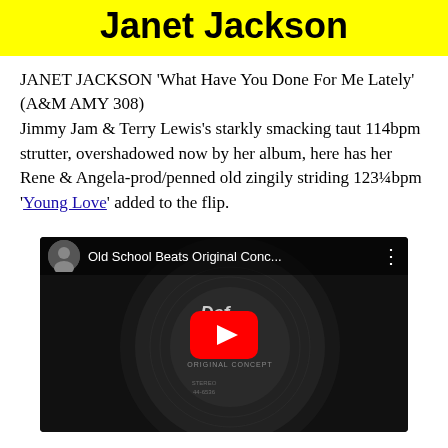Janet Jackson
JANET JACKSON 'What Have You Done For Me Lately' (A&M AMY 308)
Jimmy Jam & Terry Lewis's starkly smacking taut 114bpm strutter, overshadowed now by her album, here has her Rene & Angela-prod/penned old zingily striding 123¼bpm 'Young Love' added to the flip.
[Figure (screenshot): YouTube video thumbnail showing a vinyl record label for 'Def Jam recordings Original Concept', with a red YouTube play button overlay. Channel name shown: 'Old School Beats Original Conc...']